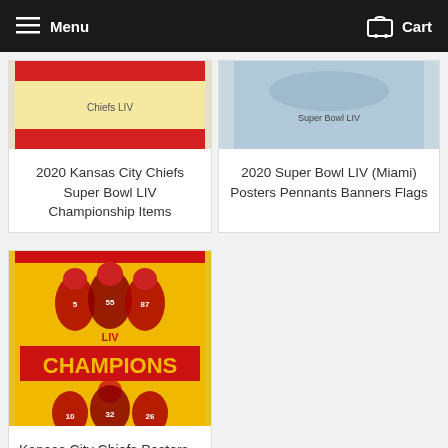Menu  Cart
2020 Kansas City Chiefs Super Bowl LIV Championship Items
2020 Super Bowl LIV (Miami) Posters Pennants Banners Flags
[Figure (photo): Kansas City Chiefs Super Bowl LIV Champions poster showing players in red uniforms with CHAMPIONS text on yellow/orange background]
Kansas City Chiefs Posters